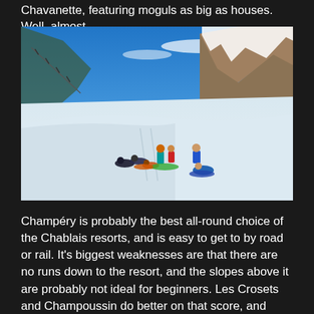Chavanette, featuring moguls as big as houses. Well, almost.
[Figure (photo): A group of skiers and snowboarders resting on a snow-covered slope with dramatic rocky mountain peaks and blue sky in the background. A ski lift is visible on the left side of the image.]
Champéry is probably the best all-round choice of the Chablais resorts, and is easy to get to by road or rail. It's biggest weaknesses are that there are no runs down to the resort, and the slopes above it are probably not ideal for beginners. Les Crosets and Champoussin do better on that score, and Morgins is also a reasonable choice for beginners. Torgon is the first